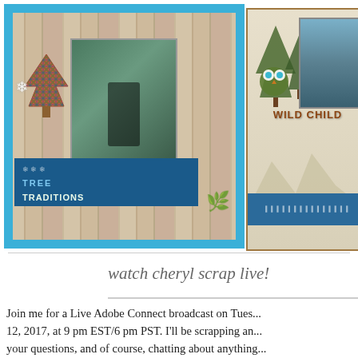[Figure (photo): Two scrapbook layout pages side by side. Left page: wood-plank background with blue dotted border, Christmas tree decoration, photo of a boy near a blue Christmas tree, blue banner with snowflakes reading 'TREE TRADITIONS'. Right page: cream textured background with brown border, pine trees, 'WILD CHILD' title, owl, mountain scene, photo of a child, and a teal/blue banner.]
watch cheryl scrap live!
Join me for a Live Adobe Connect broadcast on Tuesday, December 12, 2017, at 9 pm EST/6 pm PST. I'll be scrapping and answering your questions, and of course, chatting about anything and everything scrappy. I'll send this link...